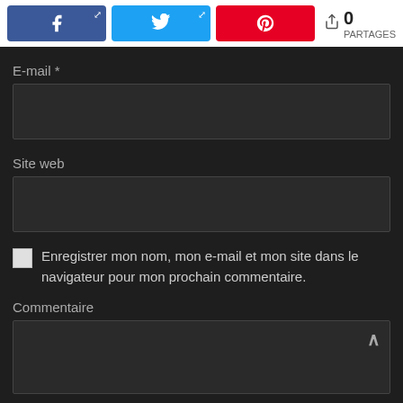[Figure (other): Social share buttons: Facebook (blue), Twitter (light blue), Pinterest (red), and a share count showing 0 PARTAGES]
E-mail *
[Figure (other): E-mail input text field (dark background)]
Site web
[Figure (other): Site web input text field (dark background)]
Enregistrer mon nom, mon e-mail et mon site dans le navigateur pour mon prochain commentaire.
Commentaire
[Figure (other): Commentaire textarea (dark background) with expand arrow in top right]